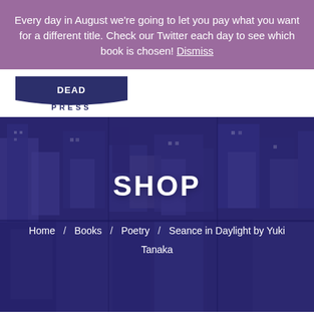Every day in August we're going to let you pay what you want for a different title. Check our Twitter each day to see which book is chosen! Dismiss
[Figure (logo): Press logo with navy banner shape and PRESS text]
[Figure (photo): Aerial view of city buildings with purple overlay, showing the SHOP page header]
SHOP
Home / Books / Poetry / Seance in Daylight by Yuki Tanaka